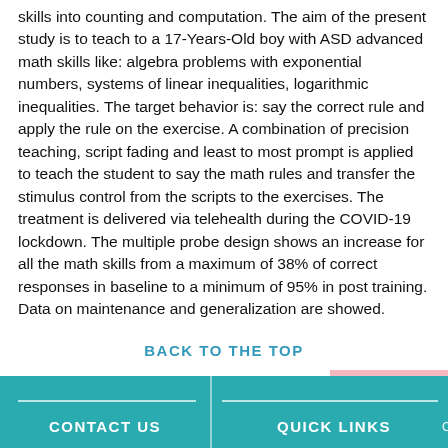skills into counting and computation. The aim of the present study is to teach to a 17-Years-Old boy with ASD advanced math skills like: algebra problems with exponential numbers, systems of linear inequalities, logarithmic inequalities. The target behavior is: say the correct rule and apply the rule on the exercise. A combination of precision teaching, script fading and least to most prompt is applied to teach the student to say the math rules and transfer the stimulus control from the scripts to the exercises. The treatment is delivered via telehealth during the COVID-19 lockdown. The multiple probe design shows an increase for all the math skills from a maximum of 38% of correct responses in baseline to a minimum of 95% in post training. Data on maintenance and generalization are showed.
BACK TO THE TOP
Back to Top
CONTACT US | QUICK LINKS | Continuing